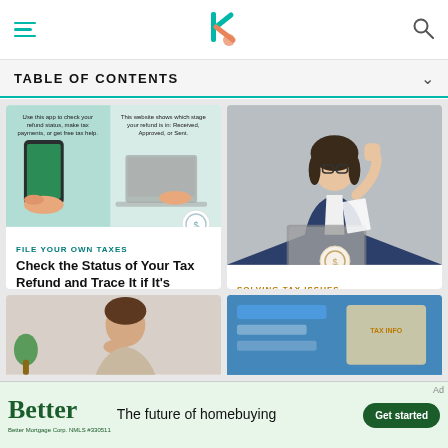TABLE OF CONTENTS
[Figure (screenshot): Card image showing hands using smartphone and laptop with tax refund info overlay. Category: FILE YOUR OWN TAXES. Title: Check the Status of Your Tax Refund and Trace It if It's Missing]
FILE YOUR OWN TAXES
Check the Status of Your Tax Refund and Trace It if It's Missing
[Figure (photo): Woman in glasses celebrating with fist pump while looking at laptop. Category: SOLVING TAX ISSUES. Title: Wondering When You Will Get Your Tax Return?]
SOLVING TAX ISSUES
Wondering When You Will Get Your Tax Return?
[Figure (photo): Partial image of a man looking thoughtful]
[Figure (infographic): Partial image with blue/teal background]
Ad
Better  The future of homebuying  Get started  Better Mortgage Corp. NMLS #330511